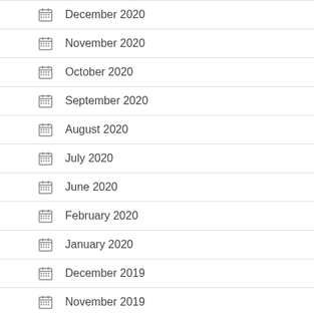December 2020
November 2020
October 2020
September 2020
August 2020
July 2020
June 2020
February 2020
January 2020
December 2019
November 2019